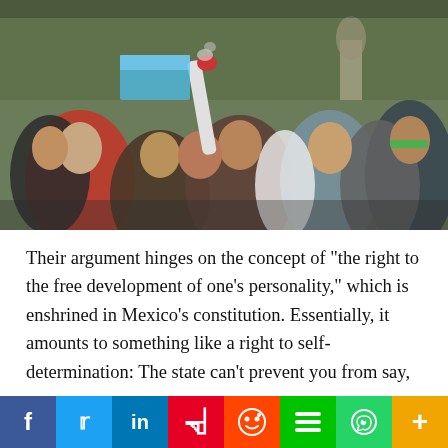[Figure (photo): Crowd of young men at an outdoor protest or gathering; one person holds a long tube/horn up to his mouth. Trees and a statue visible in background.]
Their argument hinges on the concept of "the right to the free development of one's personality," which is enshrined in Mexico's constitution. Essentially, it amounts to something like a right to self-determination: The state can't prevent you from say, eating junk lots of junk food, even if it's not great for your health. As long as you're not
[Figure (infographic): Social media sharing bar with icons for Facebook, Twitter, LinkedIn, Pinterest, Reddit, Mix, WhatsApp, and More (+)]